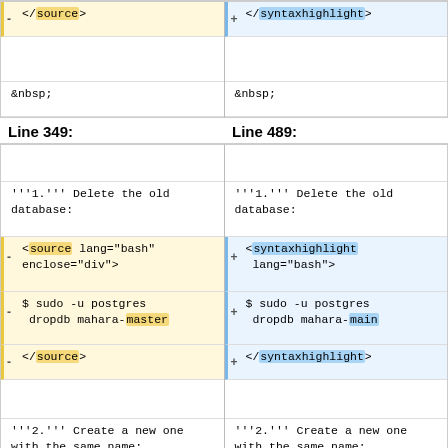| </source> | </syntaxhighlight> |
| &nbsp; | &nbsp; |
Line 349:
Line 489:
| '''1.''' Delete the old database: | '''1.''' Delete the old database: |
| <source lang="bash" enclose="div"> | <syntaxhighlight lang="bash"> |
| $ sudo -u postgres dropdb mahara-master | $ sudo -u postgres dropdb mahara-main |
| </source> | </syntaxhighlight> |
| '''2.''' Create a new one with the same name: | '''2.''' Create a new one with the same name: |